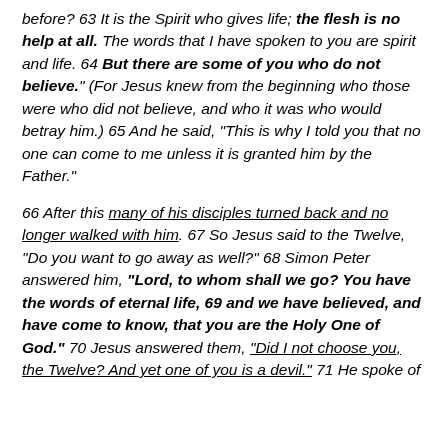before? 63 It is the Spirit who gives life; the flesh is no help at all. The words that I have spoken to you are spirit and life. 64 But there are some of you who do not believe." (For Jesus knew from the beginning who those were who did not believe, and who it was who would betray him.) 65 And he said, “This is why I told you that no one can come to me unless it is granted him by the Father.”
66 After this many of his disciples turned back and no longer walked with him. 67 So Jesus said to the Twelve, “Do you want to go away as well?” 68 Simon Peter answered him, “Lord, to whom shall we go? You have the words of eternal life, 69 and we have believed, and have come to know, that you are the Holy One of God.” 70 Jesus answered them, “Did I not choose you, the Twelve? And yet one of you is a devil.” 71 He spoke of